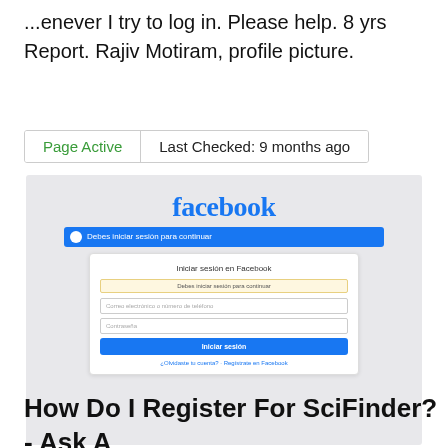...enever I try to log in. Please help. 8 yrs Report. Rajiv Motiram, profile picture.
Page Active   Last Checked: 9 months ago
[Figure (screenshot): Facebook login page screenshot showing the Facebook logo, a blue notification bar saying 'Debes iniciar sesión para continuar', and a login dialog with fields for email/phone and password, an 'Iniciar sesión' button, and links for forgotten password and registration.]
How Do I Register For SciFinder? - Ask A